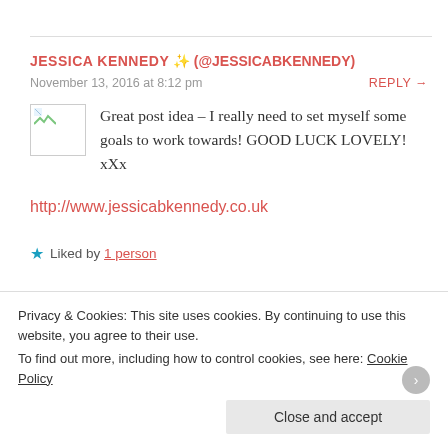JESSICA KENNEDY ✨ (@JESSICABKENNEDY)
November 13, 2016 at 8:12 pm    REPLY →
Great post idea – I really need to set myself some goals to work towards! GOOD LUCK LOVELY! xXx
http://www.jessicabkennedy.co.uk
★ Liked by 1 person
Privacy & Cookies: This site uses cookies. By continuing to use this website, you agree to their use.
To find out more, including how to control cookies, see here: Cookie Policy
Close and accept